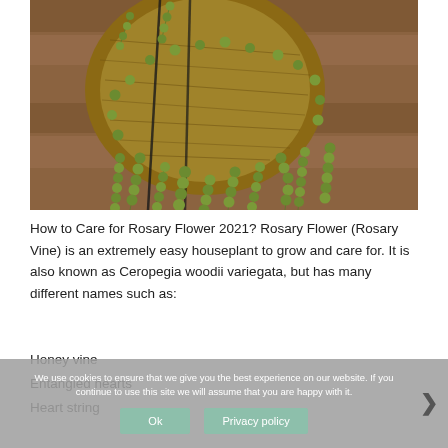[Figure (photo): Close-up photo of a string of pearls plant (Rosary Vine) in a hanging coco-fiber basket with round green bead-like leaves trailing down, against a wooden background.]
How to Care for Rosary Flower 2021? Rosary Flower (Rosary Vine) is an extremely easy houseplant to grow and care for. It is also known as Ceropegia woodii variegata, but has many different names such as:
Honey vine
Entangled hearts
Heart string
We use cookies to ensure that we give you the best experience on our website. If you continue to use this site we will assume that you are happy with it.